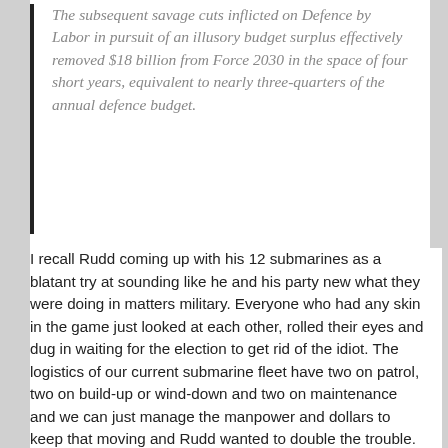The subsequent savage cuts inflicted on Defence by Labor in pursuit of an illusory budget surplus effectively removed $18 billion from Force 2030 in the space of four short years, equivalent to nearly three-quarters of the annual defence budget.
I recall Rudd coming up with his 12 submarines as a blatant try at sounding like he and his party new what they were doing in matters military. Everyone who had any skin in the game just looked at each other, rolled their eyes and dug in waiting for the election to get rid of the idiot. The logistics of our current submarine fleet have two on patrol, two on build-up or wind-down and two on maintenance and we can just manage the manpower and dollars to keep that moving and Rudd wanted to double the trouble. Capable it may have been but funded it was not – like most of their ideas – NBN, NDIS and Gonski to name a few. The public